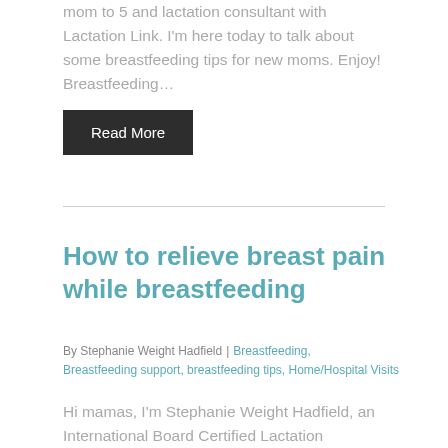mom to 5 and lactation consultant with Lactation Link. I'm here today to talk about some breastfeeding tips for new moms. Enjoy! Breastfeeding…
Read More
How to relieve breast pain while breastfeeding
By Stephanie Weight Hadfield | Breastfeeding, Breastfeeding support, breastfeeding tips, Home/Hospital Visits
Hi mamas, I'm Stephanie Weight Hadfield, an International Board Certified Lactation